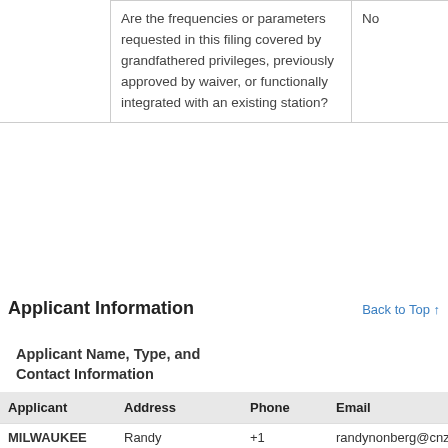|  | Question | Answer |
| --- | --- | --- |
|  | Are the frequencies or parameters requested in this filing covered by grandfathered privileges, previously approved by waiver, or functionally integrated with an existing station? | No |
Applicant Information
Back to Top ↑
Applicant Name, Type, and Contact Information
| Applicant | Address | Phone | Email |
| --- | --- | --- | --- |
| MILWAUKEE | Randy | +1 | randynonberg@cnzcommunic |